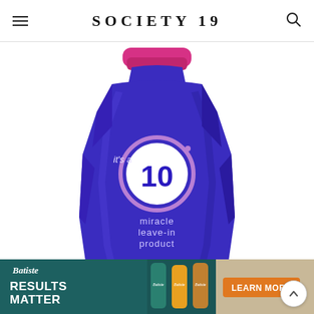SOCIETY19
[Figure (photo): A blue bottle of 'It's a 10 Miracle Leave-In Product' (295.7ml / 10 fl oz, Made in the USA) with a pink/magenta cap, on a white background.]
[Figure (photo): Batiste advertisement banner reading 'RESULTS MATTER' with Batiste dry shampoo bottles and a 'LEARN MORE' button on teal/dark teal background.]